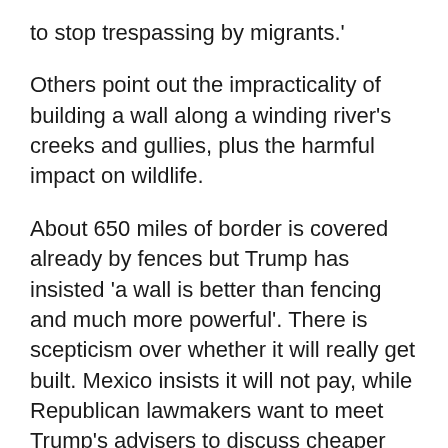to stop trespassing by migrants.'
Others point out the impracticality of building a wall along a winding river's creeks and gullies, plus the harmful impact on wildlife.
About 650 miles of border is covered already by fences but Trump has insisted 'a wall is better than fencing and much more powerful'. There is scepticism over whether it will really get built. Mexico insists it will not pay, while Republican lawmakers want to meet Trump's advisers to discuss cheaper options.
Few people I came across on either side of the river expect to see it materialise. But there is no doubt the idea struck home with ruthless force for disgruntled voters: angry at the changing face of their country, fearful over the